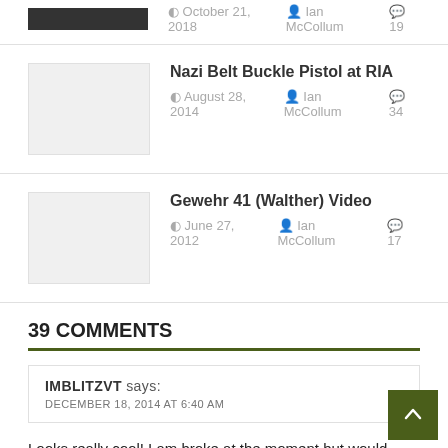[Figure (photo): Dark thumbnail image for a post]
October 21, 2018  Ian McCollum  19
[Figure (photo): Light gray thumbnail for Nazi Belt Buckle Pistol post]
Nazi Belt Buckle Pistol at RIA
August 28, 2014  Ian McCollum  34
[Figure (photo): Light gray thumbnail for Gewehr 41 (Walther) Video post]
Gewehr 41 (Walther) Video
June 27, 2012  Ian McCollum  17
39 COMMENTS
IMBLITZVT says:
DECEMBER 18, 2014 AT 6:40 AM
Looks really cool! I am broke at the moment but would consider getting one in the future, M16s just are not cheap. Price I think it a bit high but I would consider it.